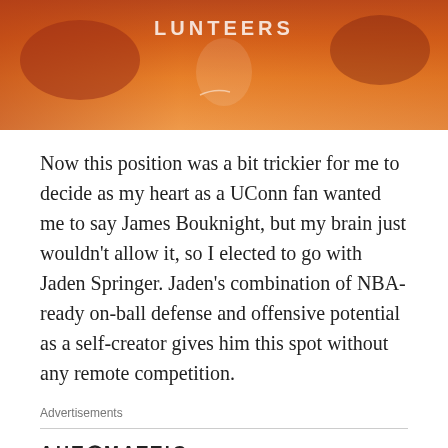[Figure (photo): Basketball player in Tennessee Volunteers white jersey on an orange court background]
Now this position was a bit trickier for me to decide as my heart as a UConn fan wanted me to say James Bouknight, but my brain just wouldn't allow it, so I elected to go with Jaden Springer. Jaden's combination of NBA-ready on-ball defense and offensive potential as a self-creator gives him this spot without any remote competition.
Advertisements
[Figure (logo): Automattic logo with stylized O]